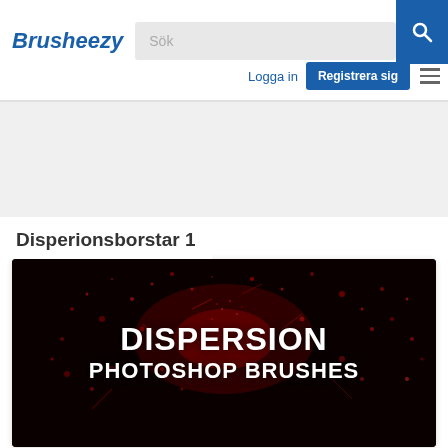Brusheezy | Sök | Logga in | Registrera sig
[Figure (screenshot): Gray advertisement placeholder area]
Disperionsborstar 1
[Figure (illustration): Dispersion Photoshop Brushes preview image: black background with red particle splash effect, white bold text reading DISPERSION PHOTOSHOP BRUSHES]